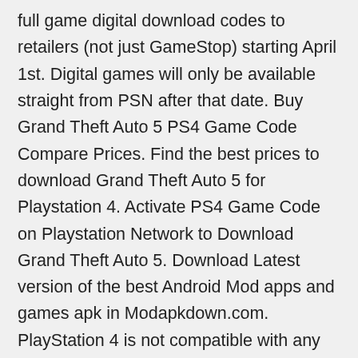full game digital download codes to retailers (not just GameStop) starting April 1st. Digital games will only be available straight from PSN after that date. Buy Grand Theft Auto 5 PS4 Game Code Compare Prices. Find the best prices to download Grand Theft Auto 5 for Playstation 4. Activate PS4 Game Code on Playstation Network to Download Grand Theft Auto 5. Download Latest version of the best Android Mod apps and games apk in Modapkdown.com. PlayStation 4 is not compatible with any game for older PlayStation consoles. Emulated versions of selected PS2 games are available for purchase via PlayStation Store, which are upscaled to high definition and have support for PS4 social... Also on the unit's front are four PlayStation face buttons ( Triangle , Circle , X , Square ); the directional pad, the analog "nub", and several other buttons.
ダウンロード500曲セット.mp3 .torrent
↓ olicense 2007 in ライセンス